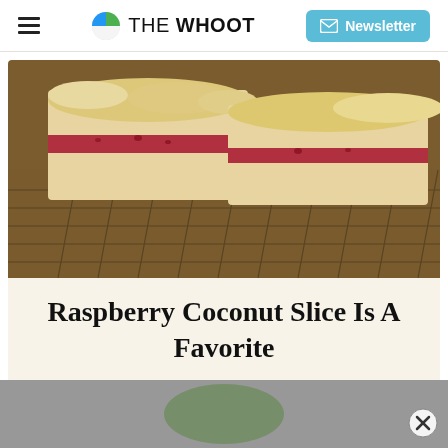THE WHOot | Newsletter
[Figure (photo): Close-up photo of raspberry coconut slice bars on a wire cooling rack, showing layers of shortbread base, raspberry jam, and crumbled coconut topping]
Raspberry Coconut Slice Is A Favorite
[Figure (photo): Partial view of another food photo at the bottom of the page with a close button overlay]